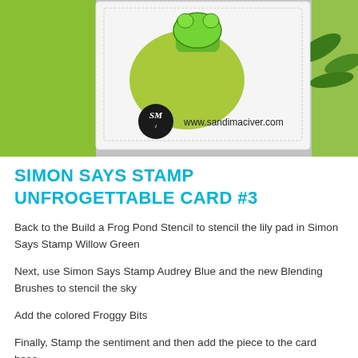[Figure (photo): Photo of a handmade card featuring a frog on a lily pad with green background, with SM logo and www.sandimaciver.com watermark]
SIMON SAYS STAMP UNFROGETTABLE CARD #3
Back to the Build a Frog Pond Stencil to stencil the lily pad in Simon Says Stamp Willow Green
Next, use Simon Says Stamp Audrey Blue and the new Blending Brushes to stencil the sky
Add the colored Froggy Bits
Finally, Stamp the sentiment and then add the piece to the card base.